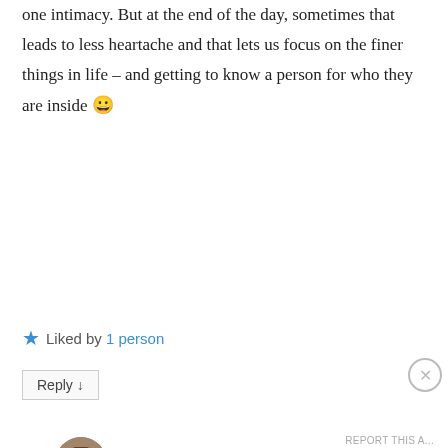one intimacy. But at the end of the day, sometimes that leads to less heartache and that lets us focus on the finer things in life – and getting to know a person for who they are inside 😀
★ Liked by 1 person
Reply ↓
Alok Singhal on 10 March 2016 at 11:21 PM said:
Very true! I agree!
Advertisements
[Figure (other): Macy's advertisement banner with red background showing a woman's face with red lipstick, text 'KISS BORING LIPS GOODBYE', 'SHOP NOW' button, and Macy's star logo]